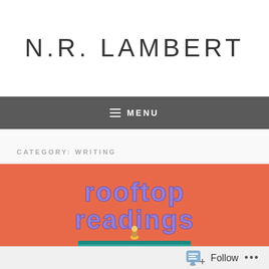N.R. LAMBERT
≡ MENU
CATEGORY: WRITING
[Figure (illustration): Rooftop Readings logo on orange background: purple bubble-letter text reading 'rooftop readings' above a teal book with a small golden figure sitting on top]
Follow ...